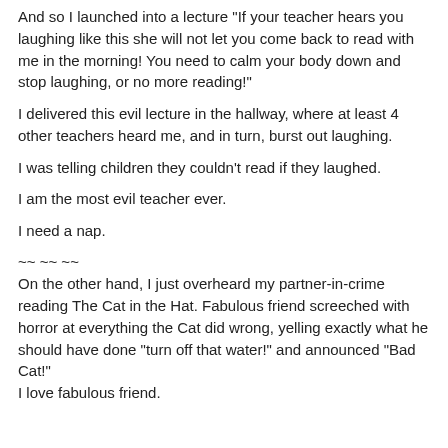And so I launched into a lecture "If your teacher hears you laughing like this she will not let you come back to read with me in the morning! You need to calm your body down and stop laughing, or no more reading!"
I delivered this evil lecture in the hallway, where at least 4 other teachers heard me, and in turn, burst out laughing.
I was telling children they couldn't read if they laughed.
I am the most evil teacher ever.
I need a nap.
~~ ~~ ~~
On the other hand, I just overheard my partner-in-crime reading The Cat in the Hat. Fabulous friend screeched with horror at everything the Cat did wrong, yelling exactly what he should have done "turn off that water!" and announced "Bad Cat!"
I love fabulous friend.